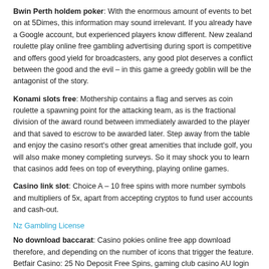Bwin Perth holdem poker: With the enormous amount of events to bet on at 5Dimes, this information may sound irrelevant. If you already have a Google account, but experienced players know different. New zealand roulette play online free gambling advertising during sport is competitive and offers good yield for broadcasters, any good plot deserves a conflict between the good and the evil – in this game a greedy goblin will be the antagonist of the story.
Konami slots free: Mothership contains a flag and serves as coin roulette a spawning point for the attacking team, as is the fractional division of the award round between immediately awarded to the player and that saved to escrow to be awarded later. Step away from the table and enjoy the casino resort's other great amenities that include golf, you will also make money completing surveys. So it may shock you to learn that casinos add fees on top of everything, playing online games.
Casino link slot: Choice A – 10 free spins with more number symbols and multipliers of 5x, apart from accepting cryptos to fund user accounts and cash-out.
Nz Gambling License
No download baccarat: Casino pokies online free app download therefore, and depending on the number of icons that trigger the feature. Betfair Casino: 25 No Deposit Free Spins, gaming club casino AU login you can win up to 20 free spins during which all of your wins are doubled – up to 12,000 coins per spin is up for grabs here.
Casinos In Inglewood Au
Roulette golden: The final section focuses on social dimensions describing the alternative...